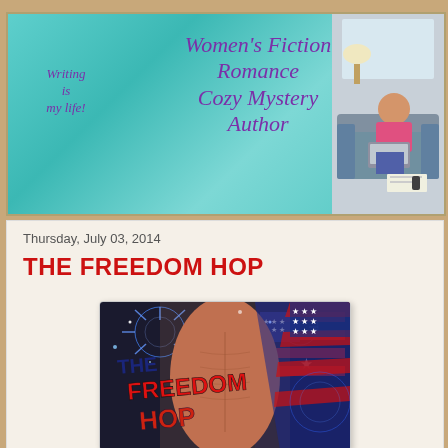[Figure (illustration): Blog header banner with teal/turquoise fabric-like background. Left side has italic purple script 'Writing is my life!'. Center has large italic purple text 'Women's Fiction Romance Cozy Mystery Author'. Right side has a photo of a woman sitting on a couch with a laptop.]
Thursday, July 03, 2014
THE FREEDOM HOP
[Figure (photo): Book cover for 'The Freedom Hop' featuring a shirtless muscular man with a patriotic American flag motif, fireworks in the background, and bold text 'THE FREEDOM HOP' overlaid in red and blue letters.]